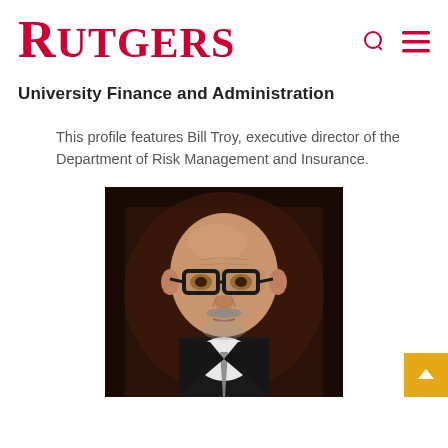RUTGERS
University Finance and Administration
This profile features Bill Troy, executive director of the Department of Risk Management and Insurance.
[Figure (photo): Professional headshot of Bill Troy, executive director of the Department of Risk Management and Insurance at Rutgers University. He is a bald man wearing black-rimmed glasses and a dark suit with tie, photographed against a dark background.]